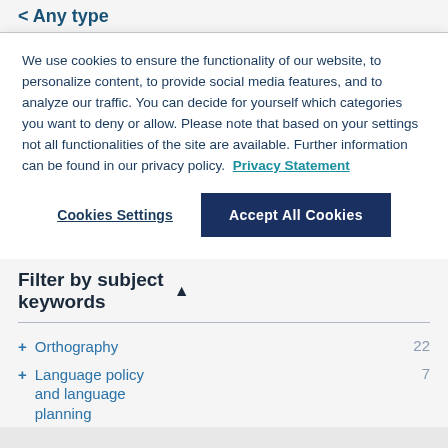< Any type
We use cookies to ensure the functionality of our website, to personalize content, to provide social media features, and to analyze our traffic. You can decide for yourself which categories you want to deny or allow. Please note that based on your settings not all functionalities of the site are available. Further information can be found in our privacy policy. Privacy Statement
Cookies Settings
Accept All Cookies
Filter by subject keywords
+ Orthography 22
+ Language policy and language planning 7